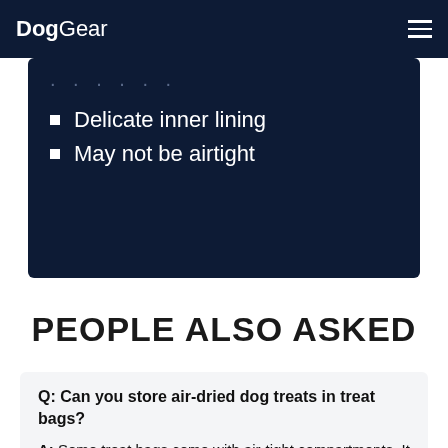DogGear
Delicate inner lining
May not be airtight
PEOPLE ALSO ASKED
Q: Can you store air-dried dog treats in treat bags?
A: Some treat bags come with air-tight compartments. It is perfectly fine to store air-dried treats in these dog treat bags. If you don't have an airtight option, put the treats in a small zip-lock bag and then into your treat bag.